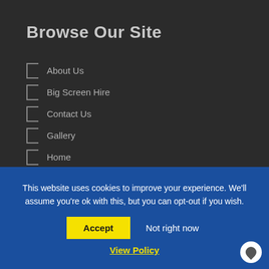Browse Our Site
About Us
Big Screen Hire
Contact Us
Gallery
Home
LED Archway & Gantry
Privacy & Cookies Policy
This website uses cookies to improve your experience. We'll assume you're ok with this, but you can opt-out if you wish.
Accept  Not right now
View Policy